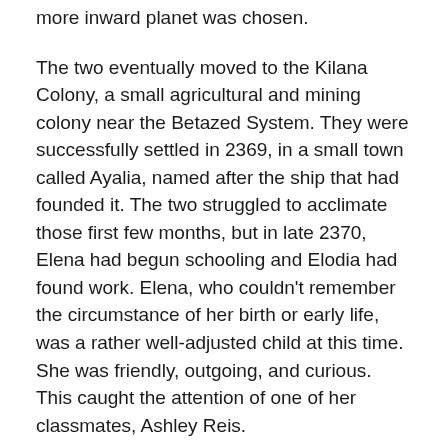more inward planet was chosen.
The two eventually moved to the Kilana Colony, a small agricultural and mining colony near the Betazed System. They were successfully settled in 2369, in a small town called Ayalia, named after the ship that had founded it. The two struggled to acclimate those first few months, but in late 2370, Elena had begun schooling and Elodia had found work. Elena, who couldn't remember the circumstance of her birth or early life, was a rather well-adjusted child at this time. She was friendly, outgoing, and curious. This caught the attention of one of her classmates, Ashley Reis.
As Ashley and Elena grew up together, their parents also became friends. While the children did not know it, their parents had grown quite fond of one another, and had begun dating. Elodia